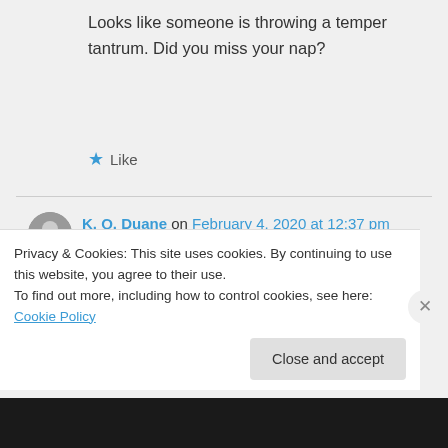Looks like someone is throwing a temper tantrum. Did you miss your nap?
★ Like
K. Q. Duane on February 4, 2020 at 12:37 pm
I'm in good company. Everyone on
Privacy & Cookies: This site uses cookies. By continuing to use this website, you agree to their use.
To find out more, including how to control cookies, see here: Cookie Policy
Close and accept